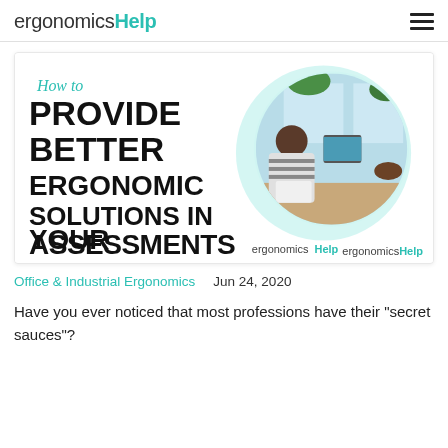ergonomicsHelp
[Figure (illustration): Article hero image showing 'How to PROVIDE BETTER ERGONOMIC SOLUTIONS IN YOUR ASSESSMENTS' text on left and a circular photo of a woman at a desk with a laptop on right, ergonomicsHelp branding at bottom right]
Office & Industrial Ergonomics   Jun 24, 2020
Have you ever noticed that most professions have their "secret sauces"?